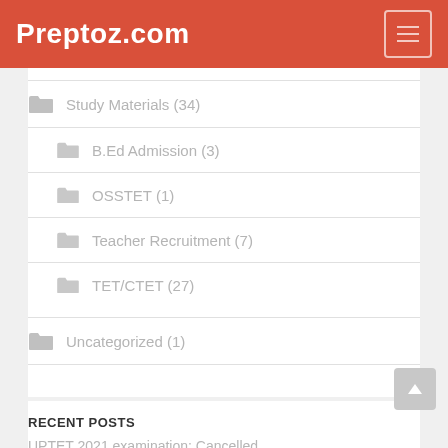Preptoz.com
Study Materials (34)
B.Ed Admission (3)
OSSTET (1)
Teacher Recruitment (7)
TET/CTET (27)
Uncategorized (1)
RECENT POSTS
UPTET 2021 examination: Cancelled